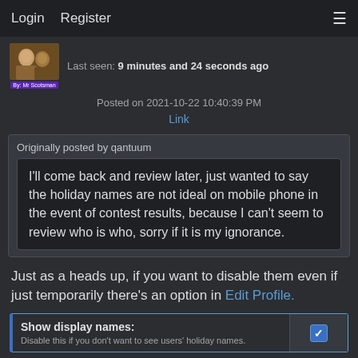Login   Register
Last seen: 9 minutes and 24 seconds ago
Posted on 2021-10-22 10:40:39 PM
Link
Originally posted by qantuum
I'll come back and review later, just wanted to say the holiday names are not ideal on mobile phone in the event of contest results, because I can't seem to review who is who, sorry if it is my ignorance.
Just as a heads up, if you want to disable them even if just temporarily there's an option in Edit Profile.
Show display names:
Disable this if you don't want to see users' holiday names.